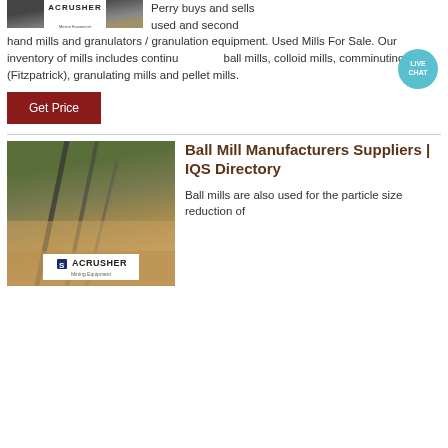[Figure (photo): Mining quarry/crusher facility photo with ACRUSHER Mining Equipment logo overlay at top of page]
Perry buys and sells used and second hand mills and granulators / granulation equipment. Used Mills For Sale. Our inventory of mills includes continuous ball mills, colloid mills, comminuting mills (Fitzpatrick), granulating mills and pellet mills.
[Figure (other): Live Chat bubble icon in teal/blue color]
Get Price
[Figure (photo): Mining quarry site with conveyors and machinery, ACRUSHER Mining Equipment logo overlaid at bottom]
Ball Mill Manufacturers Suppliers | IQS Directory
Ball mills are also used for the particle size reduction of